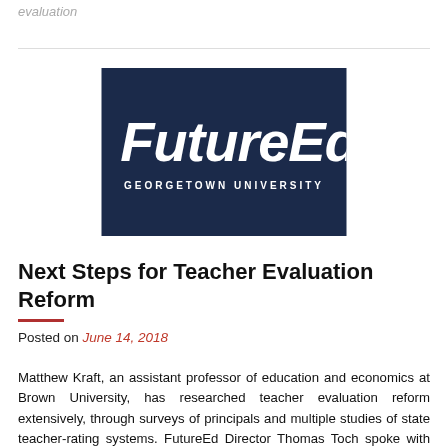evaluation
[Figure (logo): FutureEd Georgetown University logo — dark navy blue rectangle with white bold italic text 'FutureEd' and white uppercase 'GEORGETOWN UNIVERSITY' below]
Next Steps for Teacher Evaluation Reform
Posted on June 14, 2018
Matthew Kraft, an assistant professor of education and economics at Brown University, has researched teacher evaluation reform extensively, through surveys of principals and multiple studies of state teacher-rating systems. FutureEd Director Thomas Toch spoke with Kraft to get his perspectives on the teacher evaluation